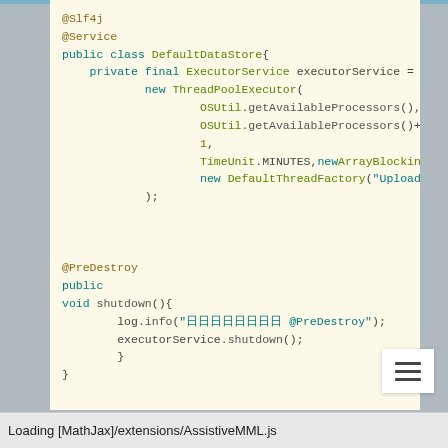[Figure (screenshot): Java source code snippet showing a DefaultDataStore class with @Slf4j and @Service annotations, a ThreadPoolExecutor field initialization, and a @PreDestroy shutdown() method. Displayed in a code viewer with syntax highlighting on a cream/yellow background.]
Loading [MathJax]/extensions/AssistiveMML.js